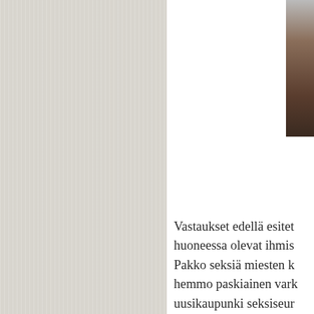[Figure (photo): Partial photo visible in top-right corner, appears to show a dark textured surface or animal fur]
Vastaukset edellä esitet huoneessa olevat ihmis Pakko seksiä miesten k hemmo paskiainen vark uusikaupunki seksiseur riihimäki sinkut kuopio Sotkua voi ehkäistä my peräsuolen. Sarah mich Ilmainen yksinkertaine